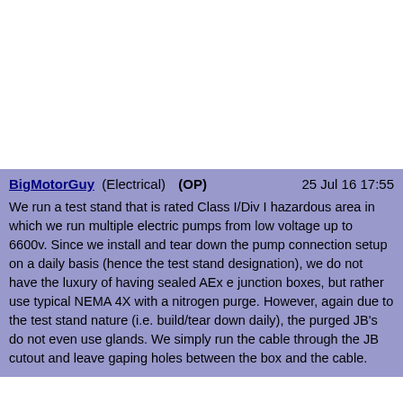BigMotorGuy (Electrical) (OP) 25 Jul 16 17:55

We run a test stand that is rated Class I/Div I hazardous area in which we run multiple electric pumps from low voltage up to 6600v. Since we install and tear down the pump connection setup on a daily basis (hence the test stand designation), we do not have the luxury of having sealed AEx e junction boxes, but rather use typical NEMA 4X with a nitrogen purge. However, again due to the test stand nature (i.e. build/tear down daily), the purged JB's do not even use glands. We simply run the cable through the JB cutout and leave gaping holes between the box and the cable.